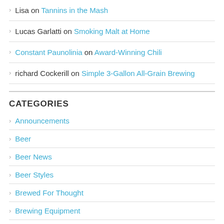Lisa on Tannins in the Mash
Lucas Garlatti on Smoking Malt at Home
Constant Paunolinia on Award-Winning Chili
richard Cockerill on Simple 3-Gallon All-Grain Brewing
CATEGORIES
Announcements
Beer
Beer News
Beer Styles
Brewed For Thought
Brewing Equipment
Brewing Ingredients